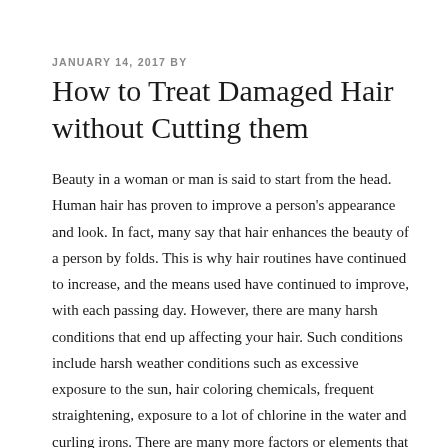JANUARY 14, 2017 BY
How to Treat Damaged Hair without Cutting them
Beauty in a woman or man is said to start from the head. Human hair has proven to improve a person's appearance and look. In fact, many say that hair enhances the beauty of a person by folds. This is why hair routines have continued to increase, and the means used have continued to improve, with each passing day. However, there are many harsh conditions that end up affecting your hair. Such conditions include harsh weather conditions such as excessive exposure to the sun, hair coloring chemicals, frequent straightening, exposure to a lot of chlorine in the water and curling irons. There are many more factors or elements that cause the same